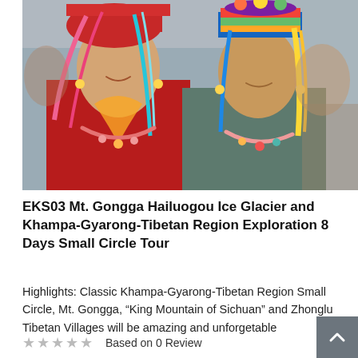[Figure (photo): Two women in traditional Khampa-Tibetan colorful festival costumes and elaborate headdresses, smiling at the camera. The woman on the left wears red with gold embroidery and pink ribbons; the woman on the right wears teal with a multicolored hat with yellow tassels. Both wear beaded necklaces.]
EKS03 Mt. Gongga Hailuogou Ice Glacier and Khampa-Gyarong-Tibetan Region Exploration 8 Days Small Circle Tour
Highlights: Classic Khampa-Gyarong-Tibetan Region Small Circle, Mt. Gongga, “King Mountain of Sichuan” and Zhonglu Tibetan Villages will be amazing and unforgetable
★★★★★  Based on 0 Review